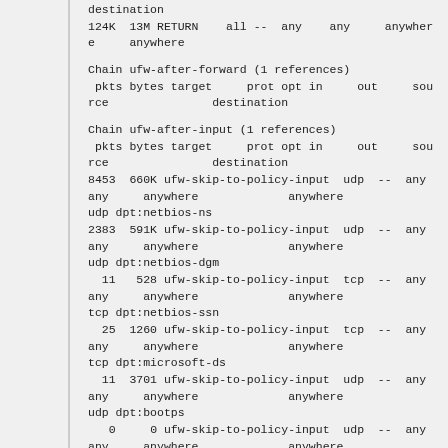destination
124K  13M RETURN    all --  any    any     anywhere     anywhere
Chain ufw-after-forward (1 references)
 pkts bytes target     prot opt in     out     source               destination
Chain ufw-after-input (1 references)
 pkts bytes target     prot opt in     out     source               destination
8453  660K ufw-skip-to-policy-input  udp  --  any    any     anywhere             anywhere             udp dpt:netbios-ns
2383  591K ufw-skip-to-policy-input  udp  --  any    any     anywhere             anywhere             udp dpt:netbios-dgm
  11   528 ufw-skip-to-policy-input  tcp  --  any    any     anywhere             anywhere             tcp dpt:netbios-ssn
  25  1260 ufw-skip-to-policy-input  tcp  --  any    any     anywhere             anywhere             tcp dpt:microsoft-ds
  11  3701 ufw-skip-to-policy-input  udp  --  any    any     anywhere             anywhere             udp dpt:bootps
   0     0 ufw-skip-to-policy-input  udp  --  any    any     anywhere             anywhere             udp dpt:bootpc
1990  460K ufw-skip-to-policy-input  all  --  any    any     anywhere             anywhere             ADDRTYPE match dst-type BROADCAST
Chain ufw-after-logging-forward (1 references)
 pkts bytes target     prot opt in     out     source               destination
   0     0 LOG        all  --  any    any     anywhere             anywhere             limit: avg 3/min burst 10 LOG level warning